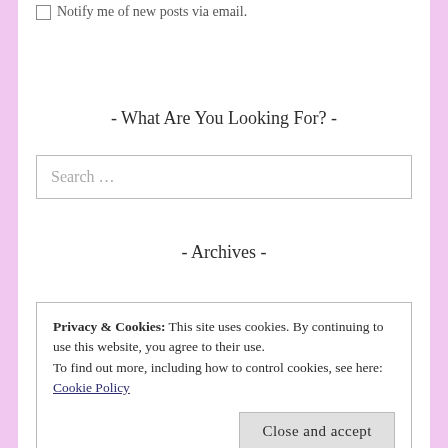Notify me of new posts via email.
- What Are You Looking For? -
Search ...
- Archives -
Privacy & Cookies: This site uses cookies. By continuing to use this website, you agree to their use.
To find out more, including how to control cookies, see here: Cookie Policy
Close and accept